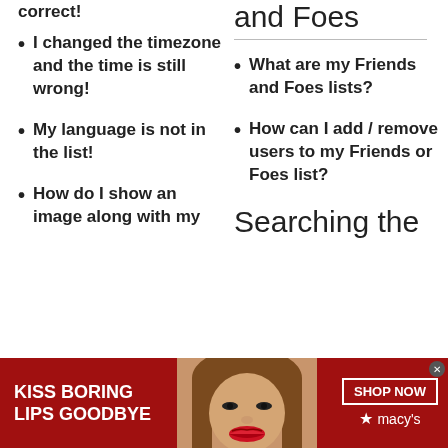correct!
and Foes
I changed the timezone and the time is still wrong!
What are my Friends and Foes lists?
My language is not in the list!
How can I add / remove users to my Friends or Foes list?
How do I show an image along with my
Searching the
[Figure (photo): Macy's advertisement banner: red background with woman's face and red lips in center, 'KISS BORING LIPS GOODBYE' text on left, 'SHOP NOW' button and Macy's star logo on right]